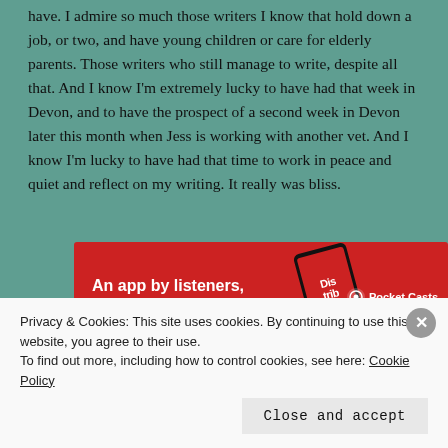have. I admire so much those writers I know that hold down a job, or two, and have young children or care for elderly parents. Those writers who still manage to write, despite all that. And I know I'm extremely lucky to have had that week in Devon, and to have the prospect of a second week in Devon later this month when Jess is working with another vet. And I know I'm lucky to have had that time to work in peace and quiet and reflect on my writing. It really was bliss.
[Figure (other): Pocket Casts advertisement banner: red background with text 'An app by listeners, for listeners.' and a phone showing the app, with Pocket Casts logo on the right.]
And it made me realise how important it is to try and find a bit of
Privacy & Cookies: This site uses cookies. By continuing to use this website, you agree to their use. To find out more, including how to control cookies, see here: Cookie Policy